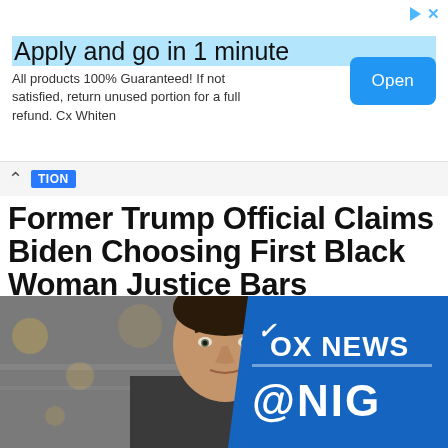[Figure (other): Advertisement banner: 'Apply and go in 1 minute' with Open button]
Former Trump Official Claims Biden Choosing First Black Woman Justice Bars ‘Hispanics, Asians and Gays’
Published 7 months ago on January 27, 2022
By David Badash
[Figure (photo): Photo of a man in front of a Fox News @Night backdrop]